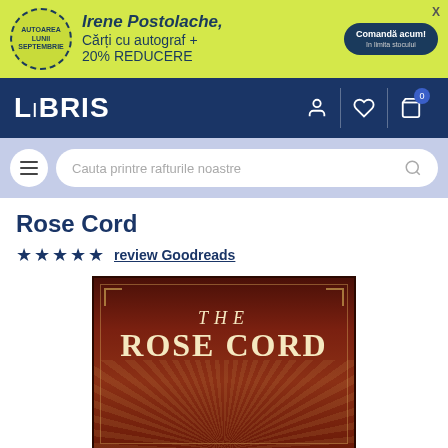[Figure (screenshot): Promotional banner with yellow-green background: circular badge saying AUTOAREA LUNII SEPTEMBRIE, bold italic text 'Irene Postolache, Cărți cu autograf + 20% REDUCERE', dark blue button 'Comandă acum!' with 'în limita stocului' subtitle, and X close button.]
[Figure (logo): LIBRIS logo in white on dark navy navigation bar, with user, heart, and bag icons.]
[Figure (screenshot): Search bar row with light blue/lavender background, hamburger menu button, and rounded search input 'Cauta printre rafturile noastre' with magnifying glass icon.]
Rose Cord
★★★★★ review Goodreads
[Figure (photo): Book cover of 'The Rose Cord' — dark red/maroon background with curtain-like texture, ornate border, radiating light rays at bottom, white serif text reading 'THE ROSE CORD' in large display type with a figure silhouette at bottom.]